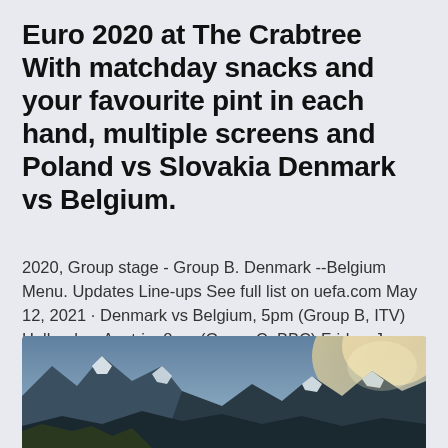Euro 2020 at The Crabtree With matchday snacks and your favourite pint in each hand, multiple screens and Poland vs Slovakia Denmark vs Belgium.
2020, Group stage - Group B. Denmark --Belgium Menu. Updates Line-ups See full list on uefa.com May 12, 2021 · Denmark vs Belgium, 5pm (Group B, ITV) Holland vs Austria, 8pm (Group C, BBC) Friday, June 18.
[Figure (photo): Partial mountain landscape photo showing snow-capped peaks with bright sunlight, cropped at bottom of page]